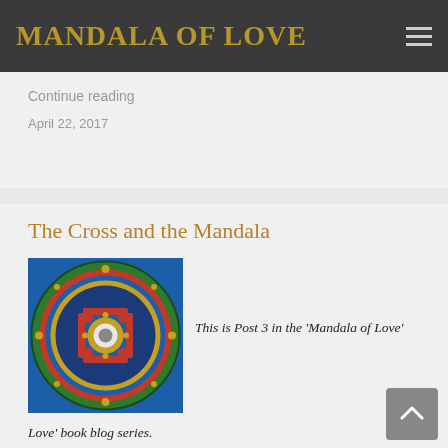MANDALA OF LOVE
Continue reading
April 22, 2017
The Cross and the Mandala
[Figure (photo): Colorful circular Tibetan mandala with a cross-like geometric pattern in the center, featuring red, blue, gold, and green colors on a blue background.]
This is Post 3 in the ‘Mandala of Love’ book blog series.
The Mandala is an archetype – a universal symbol or